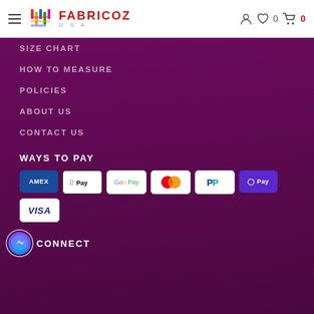FABRICOZ USA — navigation header with hamburger menu, logo, account icon, wishlist (0), cart (0)
SIZE CHART
HOW TO MEASURE
POLICIES
ABOUT US
CONTACT US
WAYS TO PAY
[Figure (logo): Payment method logos: American Express, Apple Pay, Google Pay, Mastercard, PayPal, OPay, Visa]
CONNECT